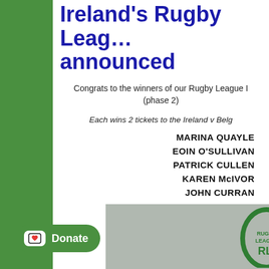Ireland's Rugby League announced
Congrats to the winners of our Rugby League (phase 2)
Each wins 2 tickets to the Ireland v Belg...
MARINA QUAYLE
EOIN O'SULLIVAN
PATRICK CULLEN
KAREN McIVOR
JOHN CURRAN
[Figure (logo): Rugby League Ireland logo and McGettigan's branding on bottom banner]
Donate